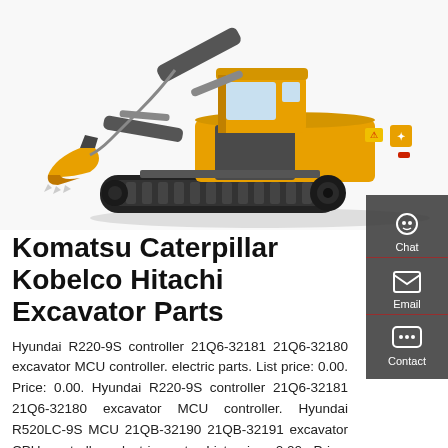[Figure (photo): Yellow and black tracked excavator (John Deere E260LC) photographed on white background, showing full side view with boom arm extended and bucket lowered.]
Komatsu Caterpillar Kobelco Hitachi Excavator Parts
Hyundai R220-9S controller 21Q6-32181 21Q6-32180 excavator MCU controller. electric parts. List price: 0.00. Price: 0.00. Hyundai R220-9S controller 21Q6-32181 21Q6-32180 excavator MCU controller. Hyundai R520LC-9S MCU 21QB-32190 21QB-32191 excavator CPU controller. electric parts. List price: 0.00. Price: 0.00